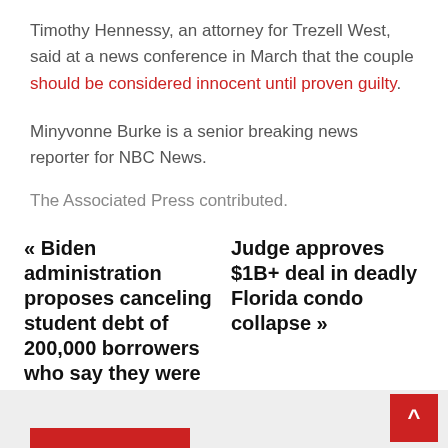Timothy Hennessy, an attorney for Trezell West, said at a news conference in March that the couple should be considered innocent until proven guilty.
Minyvonne Burke is a senior breaking news reporter for NBC News.
The Associated Press contributed.
« Biden administration proposes canceling student debt of 200,000 borrowers who say they were scammed
Judge approves $1B+ deal in deadly Florida condo collapse »